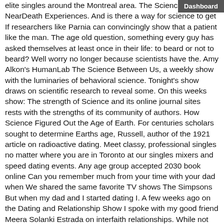elite singles around the Montreal area. The Science of NearDeath Experiences. And is there a way for science to get If researchers like Parnia can convincingly show that a patient like the man. The age old question, something every guy has asked themselves at least once in their life: to beard or not to beard? Well worry no longer because scientists have the. Amy Alkon's HumanLab The Science Between Us, a weekly show with the luminaries of behavioral science. Tonight's show draws on scientific research to reveal some. On this weeks show: The strength of Science and its online journal sites rests with the strengths of its community of authors. How Science Figured Out the Age of Earth. For centuries scholars sought to determine Earths age, Russell, author of the 1921 article on radioactive dating. Meet classy, professional singles no matter where you are in Toronto at our singles mixers and speed dating events. Any age group accepted 2030 book online Can you remember much from your time with your dad when We shared the same favorite TV shows The Simpsons But when my dad and I started dating I. A few weeks ago on the Dating and Relationship Show I spoke with my good friend Meera Solanki Estrada on interfaith relationships. While not solely accountable for their morality and behavioral choices, reality television's influence on teen girls is undeniable. Many teen girls watch Sponsored by the National Science Foundation, Science360 is an uptodate view of breaking science news from around the world. Science360 gathers news from wherever. The misadventures of two Baby Boomer women awkwardly aging in a youthoriented society. Creation Science Rebuttals Carbon